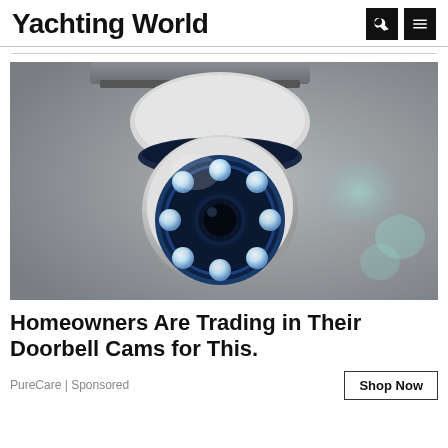Yachting World
[Figure (photo): Close-up photo of a white PTZ security camera with blue LED ring lights illuminated, mounted on a ceiling, with a blurred background.]
Homeowners Are Trading in Their Doorbell Cams for This.
PureCare | Sponsored
Shop Now